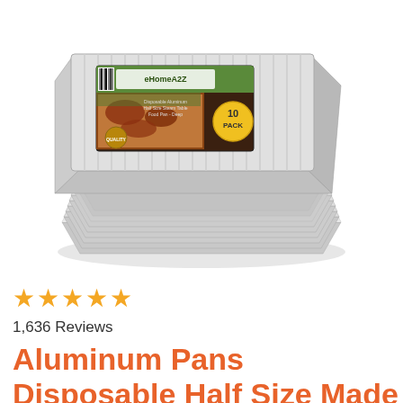[Figure (photo): Stack of silver aluminum foil half-size disposable pans with a product label showing 'eHomeA2Z' brand and '10 PACK' on a yellow badge, with BBQ food imagery on the label]
★★★★½
1,636 Reviews
Aluminum Pans Disposable Half Size Made